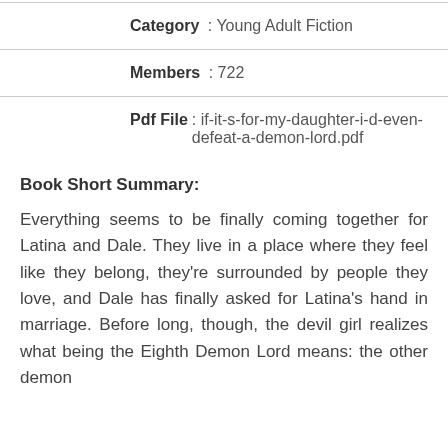Category : Young Adult Fiction
Members : 722
Pdf File: if-it-s-for-my-daughter-i-d-even-defeat-a-demon-lord.pdf
Book Short Summary:
Everything seems to be finally coming together for Latina and Dale. They live in a place where they feel like they belong, they're surrounded by people they love, and Dale has finally asked for Latina's hand in marriage. Before long, though, the devil girl realizes what being the Eighth Demon Lord means: the other demon